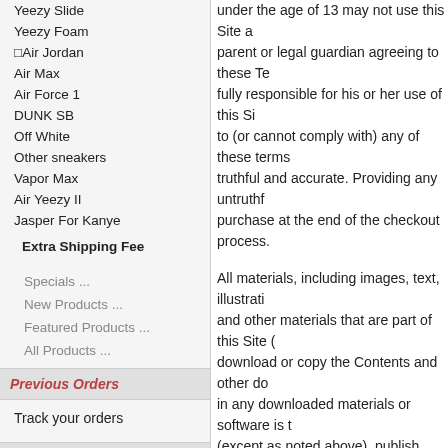Yeezy Slide
Yeezy Foam
•Air Jordan
Air Max
Air Force 1
DUNK SB
Off White
Other sneakers
Vapor Max
Air Yeezy II
Jasper For Kanye
Extra Shipping Fee
Specials ...
New Products ...
Featured Products ...
All Products ...
Previous Orders
Track your orders
Reviews - [more]
under the age of 13 may not use this Site a parent or legal guardian agreeing to these Te fully responsible for his or her use of this Si to (or cannot comply with) any of these terms truthful and accurate. Providing any untruthf purchase at the end of the checkout process.
All materials, including images, text, illustrati and other materials that are part of this Site ( download or copy the Contents and other do in any downloaded materials or software is t (except as noted above), publish, transmit, d exploit in any way, in whole or in part, any of Godshoe Co.,Ltd and protected by copyright. Any other use, including the reproduction, m on this Site is strictly prohibited.
Objectionable Material
You understand that by using this Site or any be offensive, indecent, or objectionable, whi your sole risk and that Godshoe Co.,Ltd. sh objectionable.
Copyrights and Trademarks
Unless otherwise noted, all Contents are cop licensed by Godshoe Co.,Ltd or by third par international copyright laws. The compilatio